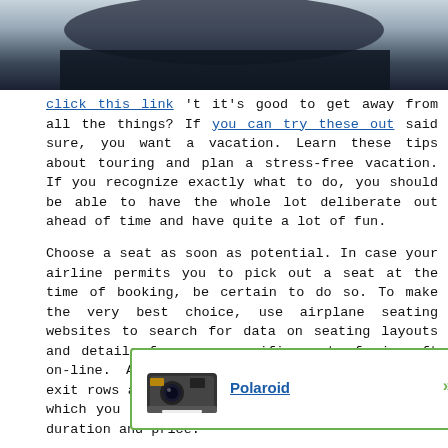[Figure (photo): Top portion of a dark/black background photo, partially cropped at top of page]
click this link 't it's good to get away from all the things? If you can try these out said sure, you want a vacation. Learn these tips about touring and plan a stress-free vacation. If you recognize exactly what to do, you should be able to have the whole lot deliberate out ahead of time and have quite a lot of fun.
Choose a seat as soon as potential. In case your airline permits you to pick out a seat at the time of booking, be certain to do so. To make the very best choice, use airplane seating websites to search for data on seating layouts and details for your specific sort of aircraft on-line. Airways often charge additional for exit rows and extra spacious seats, the worth of which you have to determine based on the flight duration and price.
As a substitute of putting your liquids in a plastic bag to stop them from leaking, strive unscrewing the lid and putting a chunk of plastic from a grocery bag over the top and screwing the lid on over it. Whereas a zip-lock bag will stop spills from ruining things, this method
If you'r
[Figure (advertisement): Pop-up advertisement featuring a Polaroid camera image with close button and green arrow, linking to Polaroid]